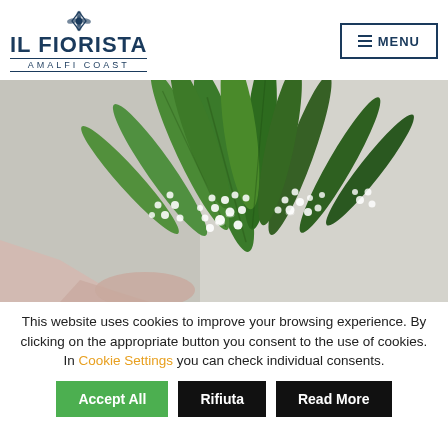[Figure (logo): IL FIORISTA AMALFI COAST logo with diamond/flower icon above the text]
[Figure (photo): A bouquet of lily-of-the-valley flowers with large green leaves, held by a hand wrapped in light pink paper, on a light grey background]
This website uses cookies to improve your browsing experience. By clicking on the appropriate button you consent to the use of cookies. In Cookie Settings you can check individual consents.
Accept All | Rifiuta | Read More